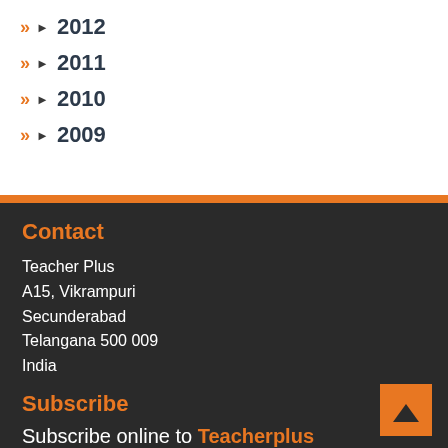2012
2011
2010
2009
Contact
Teacher Plus
A15, Vikrampuri
Secunderabad
Telangana 500 009
India
Subscribe
Subscribe online to Teacherplus